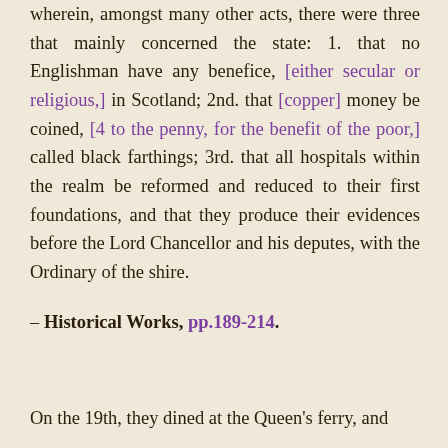wherein, amongst many other acts, there were three that mainly concerned the state: 1. that no Englishman have any benefice, [either secular or religious,] in Scotland; 2nd. that [copper] money be coined, [4 to the penny, for the benefit of the poor,] called black farthings; 3rd. that all hospitals within the realm be reformed and reduced to their first foundations, and that they produce their evidences before the Lord Chancellor and his deputes, with the Ordinary of the shire.
– Historical Works, pp.189-214.
On the 19th, they dined at the Queen's ferry, and